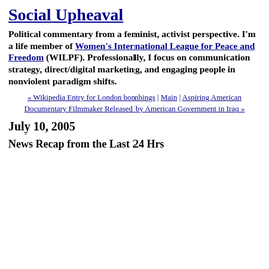Social Upheaval
Political commentary from a feminist, activist perspective. I'm a life member of Women's International League for Peace and Freedom (WILPF). Professionally, I focus on communication strategy, direct/digital marketing, and engaging people in nonviolent paradigm shifts.
« Wikipedia Entry for London bombings | Main | Aspiring American Documentary Filmmaker Released by American Government in Iraq »
July 10, 2005
News Recap from the Last 24 Hrs